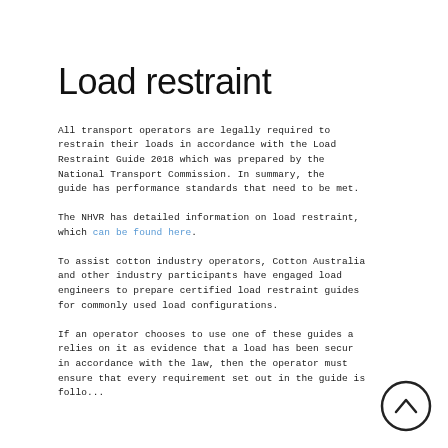Load restraint
All transport operators are legally required to restrain their loads in accordance with the Load Restraint Guide 2018 which was prepared by the National Transport Commission. In summary, the guide has performance standards that need to be met.
The NHVR has detailed information on load restraint, which can be found here.
To assist cotton industry operators, Cotton Australia and other industry participants have engaged load engineers to prepare certified load restraint guides for commonly used load configurations.
If an operator chooses to use one of these guides and relies on it as evidence that a load has been secured in accordance with the law, then the operator must ensure that every requirement set out in the guide is followed...